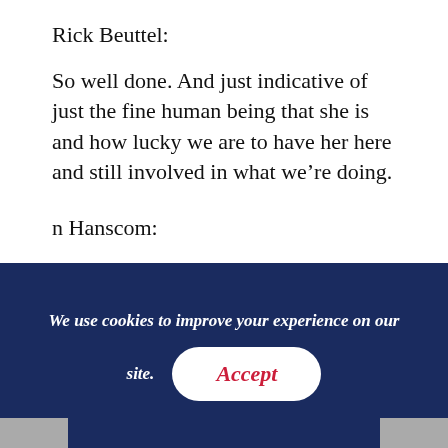Rick Beuttel:
So well done. And just indicative of just the fine human being that she is and how lucky we are to have her here and still involved in what we’re doing.
n Hanscom:
Yeah. She’s something. And that speech where she said that don’t give up you lose more races than you win, but keep going, it’s worth it. I mean, holy hell was that inspiring. I just— yeah
We use cookies to improve your experience on our site.
Accept